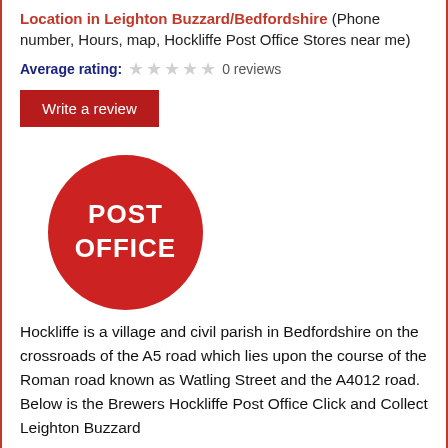Location in Leighton Buzzard/Bedfordshire (Phone number, Hours, map, Hockliffe Post Office Stores near me)
Average rating: ☆☆☆☆☆ 0 reviews
Write a review
[Figure (logo): Red circular Post Office logo with white text reading POST OFFICE]
Hockliffe is a village and civil parish in Bedfordshire on the crossroads of the A5 road which lies upon the course of the Roman road known as Watling Street and the A4012 road. Below is the Brewers Hockliffe Post Office Click and Collect Leighton Buzzard